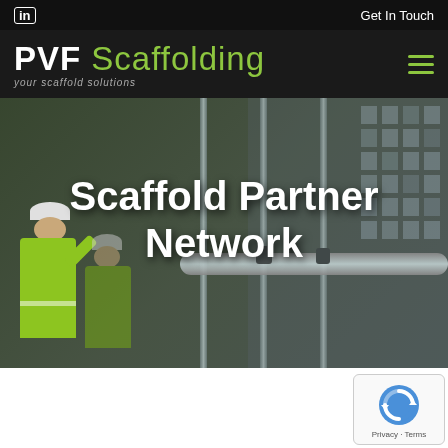in | Get In Touch
PVF Scaffolding – your scaffold solutions
[Figure (photo): Construction site hero photo showing scaffolding poles and workers in high-visibility jackets with hard hats, overlaid with 'Scaffold Partner Network' text]
Scaffold Partner Network
[Figure (other): Google reCAPTCHA badge showing reCAPTCHA logo with Privacy and Terms links]